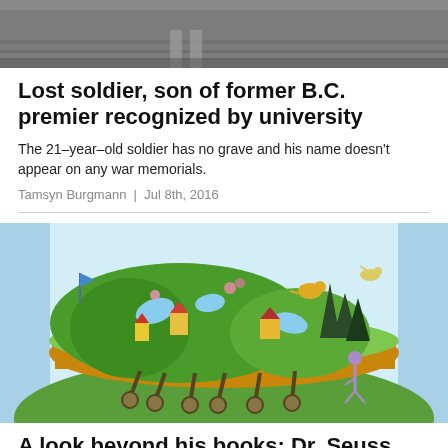[Figure (photo): Black and white photo, partial view of feet/legs on a wooden floor, top of page]
Lost soldier, son of former B.C. premier recognized by university
The 21–year–old soldier has no grave and his name doesn't appear on any war memorials.
Tamsyn Burgmann  |  Jul 8th, 2016
[Figure (illustration): Colorful Dr. Seuss-style illustration showing a whimsical green landscape with fantastical creatures and buildings on a floating island supported by walking mechanical legs, with light blue rectangular banners on sides]
A look beyond his books: Dr. Seuss secret